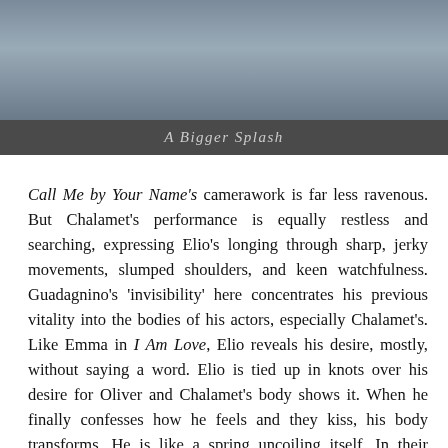[Figure (photo): Film still from 'A Bigger Splash' showing people in close proximity, with a dark caption bar beneath the image]
A Bigger Splash
Call Me by Your Name's camerawork is far less ravenous. But Chalamet's performance is equally restless and searching, expressing Elio's longing through sharp, jerky movements, slumped shoulders, and keen watchfulness. Guadagnino's 'invisibility' here concentrates his previous vitality into the bodies of his actors, especially Chalamet's. Like Emma in I Am Love, Elio reveals his desire, mostly, without saying a word. Elio is tied up in knots over his desire for Oliver and Chalamet's body shows it. When he finally confesses how he feels and they kiss, his body transforms. He is like a spring uncoiling itself. In their subsequent interactions, Chalamet articulates Elio's adoration through tactile exploration – reaching out to touch Oliver during a foot massage, playfully biting his shoulder, and climbing up and around his body before they sleep together.
Throughout 'The Desire Trilogy,' Guadagnino reminds us that